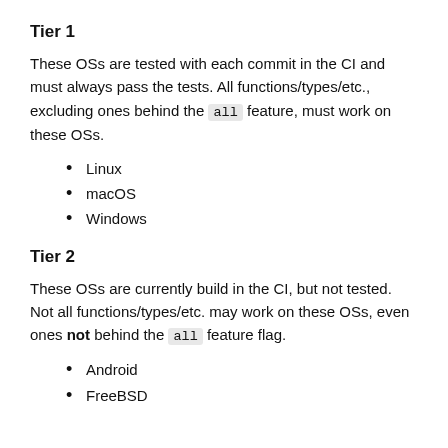Tier 1
These OSs are tested with each commit in the CI and must always pass the tests. All functions/types/etc., excluding ones behind the `all` feature, must work on these OSs.
Linux
macOS
Windows
Tier 2
These OSs are currently build in the CI, but not tested. Not all functions/types/etc. may work on these OSs, even ones not behind the `all` feature flag.
Android
FreeBSD